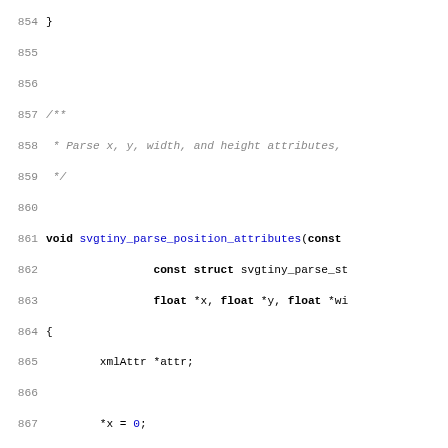[Figure (screenshot): Source code listing showing C function svgtiny_parse_position_attributes with syntax highlighting. Line numbers 854-884 visible. Keywords in bold black, function names in blue, string literals in red, numeric literals in blue, comments in gray italic.]